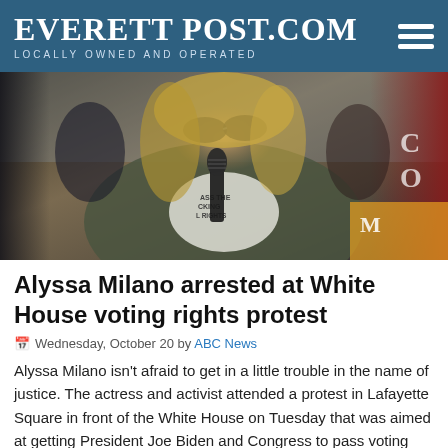EverettPost.com — Locally Owned and Operated
[Figure (photo): A woman with sunglasses and blonde hair speaking into a microphone at an outdoor protest, wearing a jacket and a t-shirt, with protest signs visible in the background including red text on the right.]
Alyssa Milano arrested at White House voting rights protest
Wednesday, October 20 by ABC News
Alyssa Milano isn't afraid to get in a little trouble in the name of justice.  The actress and activist attended a protest in Lafayette Square in front of the White House on Tuesday that was aimed at getting President Joe Biden and Congress to pass voting rights legislation…
Read More.